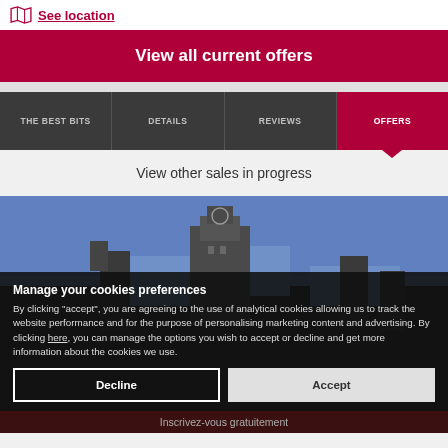See location
View all current offers
THE BEST BITS
DETAILS
REVIEWS
OFFERS
View other sales in progress
[Figure (photo): Architectural photo of a historic building with clock tower against a blue sky, partially obscured by cookie consent overlay]
Manage your cookies preferences
By clicking "accept", you are agreeing to the use of analytical cookies allowing us to track the website performance and for the purpose of personalising marketing content and advertising. By clicking here, you can manage the options you wish to accept or decline and get more information about the cookies we use.
Decline
Accept
Inscrivez-vous gratuitement